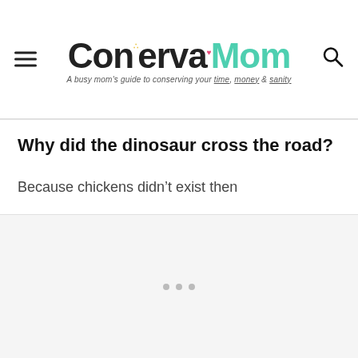ConservaMom — A busy mom's guide to conserving your time, money & sanity
Why did the dinosaur cross the road?
Because chickens didn't exist then
[Figure (other): Advertisement placeholder area with three small grey dots in the center indicating loading or ad content]